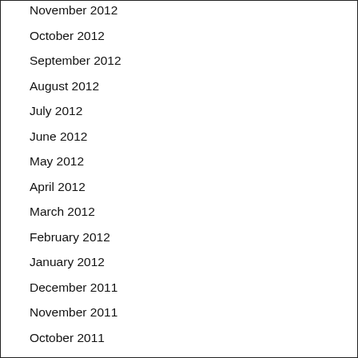November 2012
October 2012
September 2012
August 2012
July 2012
June 2012
May 2012
April 2012
March 2012
February 2012
January 2012
December 2011
November 2011
October 2011
September 2011
February 2011